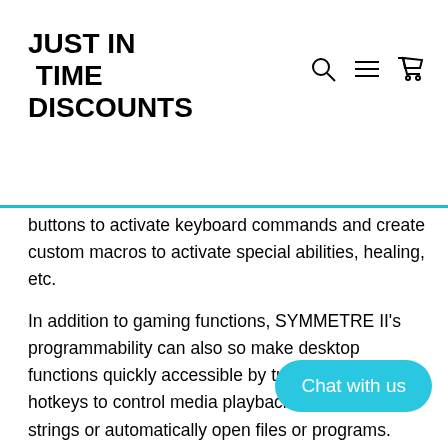JUST IN TIME DISCOUNTS
buttons to activate keyboard commands and create custom macros to activate special abilities, healing, etc.
In addition to gaming functions, SYMMETRE II's programmability can also so make desktop functions quickly accessible by turning buttons into hotkeys to control media playback, insert text strings or automatically open files or programs. SYMMETRE II can be a powerful Photoshop, AutoCAD or Solidworks tool for creatives or be optimized for financial programs.
Pixart PMW 3389 sensor
RGB LED backlighting with "brea
Includes magnetic delete panels for left side and